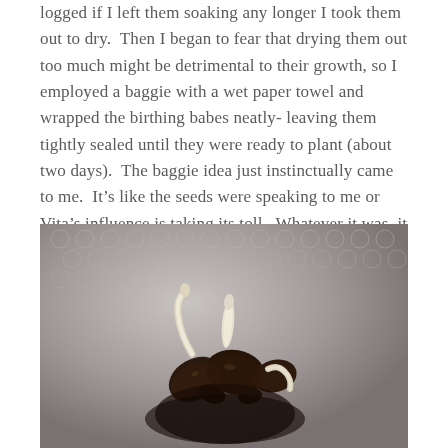logged if I left them soaking any longer I took them out to dry.  Then I began to fear that drying them out too much might be detrimental to their growth, so I employed a baggie with a wet paper towel and wrapped the birthing babes neatly- leaving them tightly sealed until they were ready to plant (about two days).  The baggie idea just instinctually came to me.  It's like the seeds were speaking to me or Vita's influence is taking its toll.  Whatever it was, it worked wonders...
[Figure (photo): Close-up photo of several dark brown germinating seeds on a textured light grey surface, showing small white sprouts emerging from the seeds.]